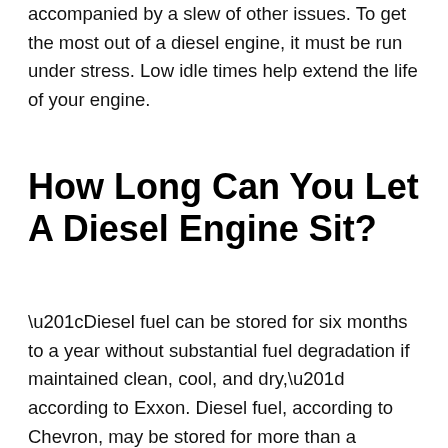accompanied by a slew of other issues. To get the most out of a diesel engine, it must be run under stress. Low idle times help extend the life of your engine.
How Long Can You Let A Diesel Engine Sit?
“Diesel fuel can be stored for six months to a year without substantial fuel degradation if maintained clean, cool, and dry,” according to Exxon. Diesel fuel, according to Chevron, may be stored for more than a